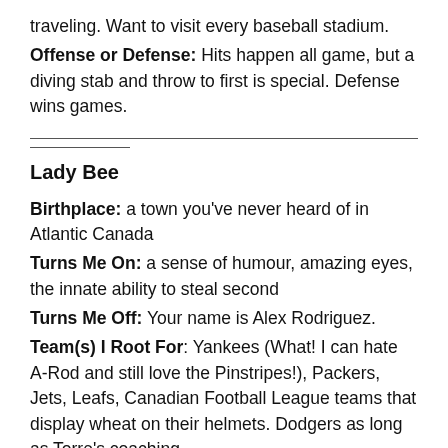traveling. Want to visit every baseball stadium.
Offense or Defense: Hits happen all game, but a diving stab and throw to first is special. Defense wins games.
Lady Bee
Birthplace: a town you've never heard of in Atlantic Canada
Turns Me On: a sense of humour, amazing eyes, the innate ability to steal second
Turns Me Off: Your name is Alex Rodriguez.
Team(s) I Root For: Yankees (What! I can hate A-Rod and still love the Pinstripes!), Packers, Jets, Leafs, Canadian Football League teams that display wheat on their helmets. Dodgers as long as Torre's coaching